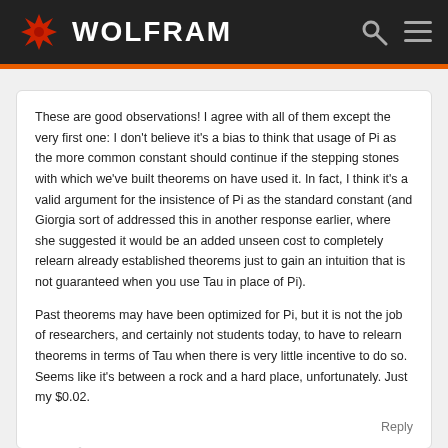WOLFRAM
These are good observations! I agree with all of them except the very first one: I don't believe it's a bias to think that usage of Pi as the more common constant should continue if the stepping stones with which we've built theorems on have used it. In fact, I think it's a valid argument for the insistence of Pi as the standard constant (and Giorgia sort of addressed this in another response earlier, where she suggested it would be an added unseen cost to completely relearn already established theorems just to gain an intuition that is not guaranteed when you use Tau in place of Pi).

Past theorems may have been optimized for Pi, but it is not the job of researchers, and certainly not students today, to have to relearn theorems in terms of Tau when there is very little incentive to do so. Seems like it's between a rock and a hard place, unfortunately. Just my $0.02.
Reply
Jesse	02/09/2018 at 4:58 pm